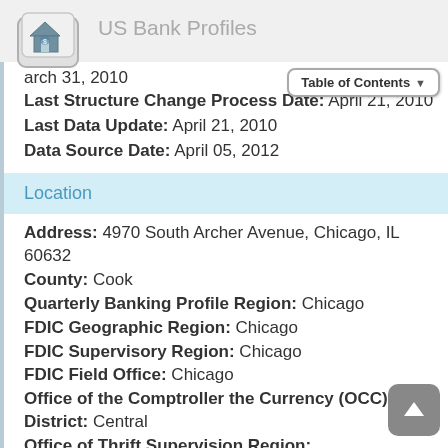US Bank Profiles
March 31, 2010
Last Structure Change Process Date: April 21, 2010
Last Data Update: April 21, 2010
Data Source Date: April 05, 2012
Location
Address: 4970 South Archer Avenue, Chicago, IL 60632
County: Cook
Quarterly Banking Profile Region: Chicago
FDIC Geographic Region: Chicago
FDIC Supervisory Region: Chicago
FDIC Field Office: Chicago
Office of the Comptroller the Currency (OCC) District: Central
Office of Thrift Supervision Region: